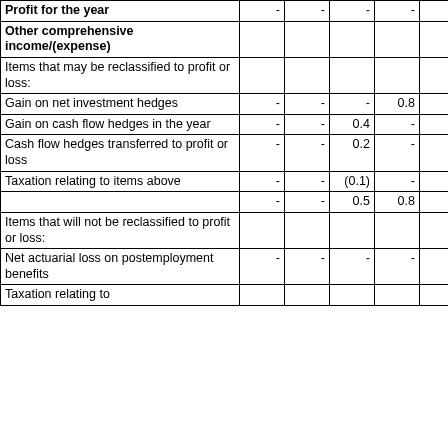|  | Col1 | Col2 | Col3 | Col4 | Col5 | Col6 |
| --- | --- | --- | --- | --- | --- | --- |
| Profit for the year | - | - | - | - | - |  |
| Other comprehensive income/(expense) |  |  |  |  |  |  |
| Items that may be reclassified to profit or loss: |  |  |  |  |  |  |
| Gain on net investment hedges | - | - | - | 0.8 | - |  |
| Gain on cash flow hedges in the year | - | - | 0.4 | - | - |  |
| Cash flow hedges transferred to profit or loss | - | - | 0.2 | - | - |  |
| Taxation relating to items above | - | - | (0.1) | - | - |  |
|  | - | - | 0.5 | 0.8 | - |  |
| Items that will not be reclassified to profit or loss: |  |  |  |  |  |  |
| Net actuarial loss on postemployment benefits | - | - | - | - | - |  |
| Taxation relating to |  |  |  |  |  |  |